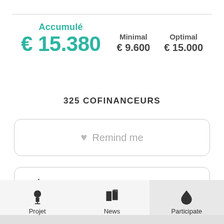Accumulé
€ 15.380
Minimal € 9.600
Optimal € 15.000
325 COFINANCEURS
♥ Remind me
RÉCOMPENSES
Projet
News
Participate